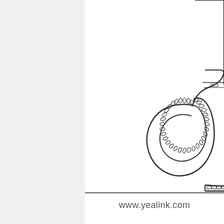[Figure (illustration): Partial view of a Yealink desk IP phone showing the handset with a coiled/spiral cord connecting to the phone body. The handset and curly cord are shown in a line-drawing style against a white background. The left portion of the page has a light gray panel separated by a thin blue vertical line.]
www.yealink.com